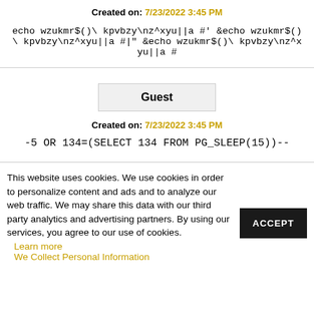Created on: 7/23/2022 3:45 PM
echo wzukmr$()\  kpvbzy\nz^xyu||a #' &echo wzukmr$()\  kpvbzy\nz^xyu||a #|" &echo wzukmr$()\  kpvbzy\nz^xyu||a #
Guest
Created on: 7/23/2022 3:45 PM
-5 OR 134=(SELECT 134 FROM PG_SLEEP(15))--
This website uses cookies. We use cookies in order to personalize content and ads and to analyze our web traffic. We may share this data with our third party analytics and advertising partners. By using our services, you agree to our use of cookies.
Learn more
We Collect Personal Information